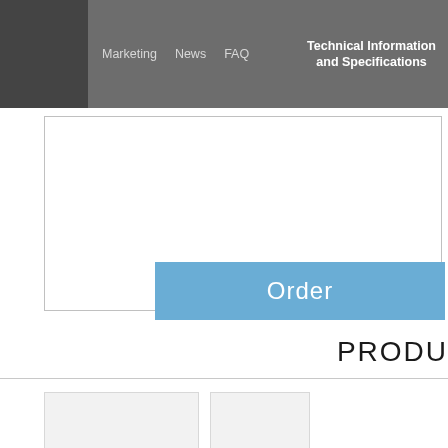Marketing   News   FAQ   Technical Information and Specifications
[Figure (screenshot): White content box with border outline, partially visible on page]
[Figure (other): Blue 'Order' button]
PRODU
[Figure (screenshot): Product card showing www.nupolar.eu]
[Figure (screenshot): Second product card showing www (truncated)]